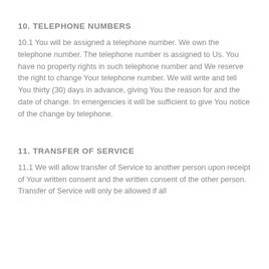10. TELEPHONE NUMBERS
10.1 You will be assigned a telephone number. We own the telephone number. The telephone number is assigned to Us. You have no property rights in such telephone number and We reserve the right to change Your telephone number. We will write and tell You thirty (30) days in advance, giving You the reason for and the date of change. In emergencies it will be sufficient to give You notice of the change by telephone.
11. TRANSFER OF SERVICE
11.1 We will allow transfer of Service to another person upon receipt of Your written consent and the written consent of the other person. Transfer of Service will only be allowed if all